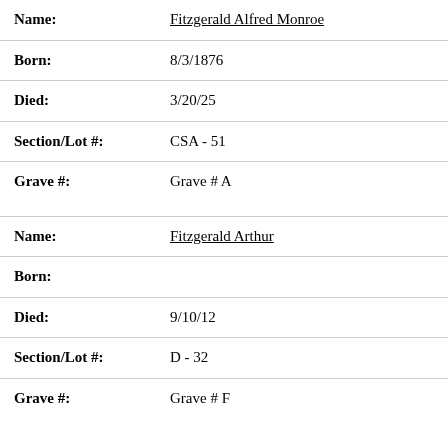| Name: | Fitzgerald Alfred Monroe |
| Born: | 8/3/1876 |
| Died: | 3/20/25 |
| Section/Lot #: | CSA - 51 |
| Grave #: | Grave # A |
| Name: | Fitzgerald Arthur |
| Born: |  |
| Died: | 9/10/12 |
| Section/Lot #: | D - 32 |
| Grave #: | Grave # F |